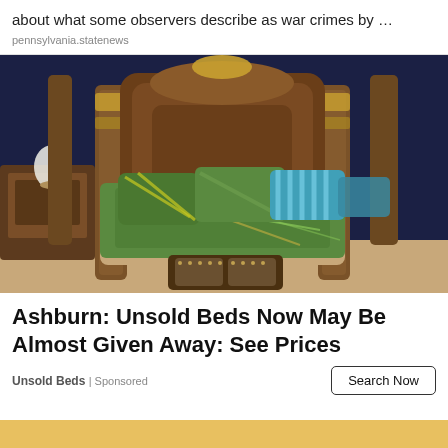about what some observers describe as war crimes by …
pennsylvania.statenews
[Figure (photo): Ornate wooden four-poster bed with teal, green and gold patterned pillows and bedspread, set against a dark navy wall with a lamp and nightstand visible, and a tufted bench at the foot of the bed.]
Ashburn: Unsold Beds Now May Be Almost Given Away: See Prices
Unsold Beds | Sponsored
Search Now